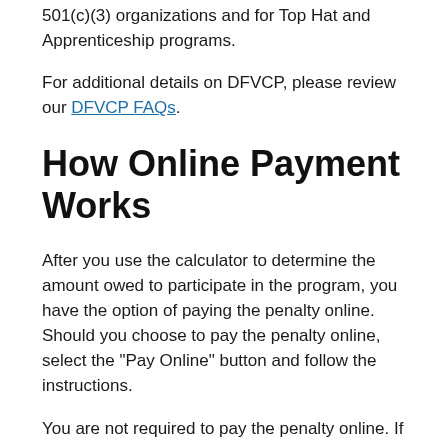501(c)(3) organizations and for Top Hat and Apprenticeship programs.
For additional details on DFVCP, please review our DFVCP FAQs.
How Online Payment Works
After you use the calculator to determine the amount owed to participate in the program, you have the option of paying the penalty online. Should you choose to pay the penalty online, select the "Pay Online" button and follow the instructions.
You are not required to pay the penalty online. If you would like to make your DFVCP